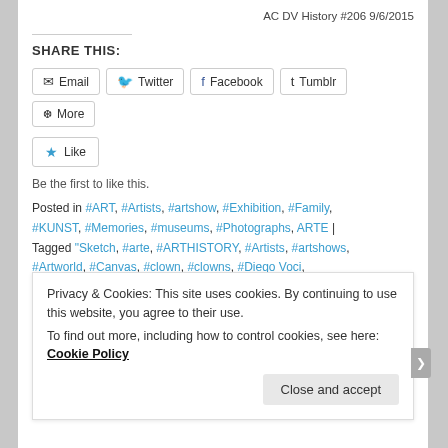AC DV History #206 9/6/2015
SHARE THIS:
Email | Twitter | Facebook | Tumblr | More
Like
Be the first to like this.
Posted in #ART, #Artists, #artshow, #Exhibition, #Family, #KUNST, #Memories, #museums, #Photographs, ARTE | Tagged "Sketch, #arte, #ARTHISTORY, #Artists, #artshows, #Artworld, #Canvas, #clown, #clowns, #Diego Voci,
Privacy & Cookies: This site uses cookies. By continuing to use this website, you agree to their use.
To find out more, including how to control cookies, see here: Cookie Policy